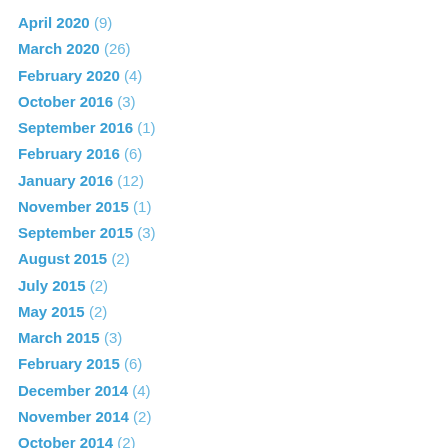April 2020 (9)
March 2020 (26)
February 2020 (4)
October 2016 (3)
September 2016 (1)
February 2016 (6)
January 2016 (12)
November 2015 (1)
September 2015 (3)
August 2015 (2)
July 2015 (2)
May 2015 (2)
March 2015 (3)
February 2015 (6)
December 2014 (4)
November 2014 (2)
October 2014 (2)
September 2014 (2)
August 2014 (3)
July 2014 (3)